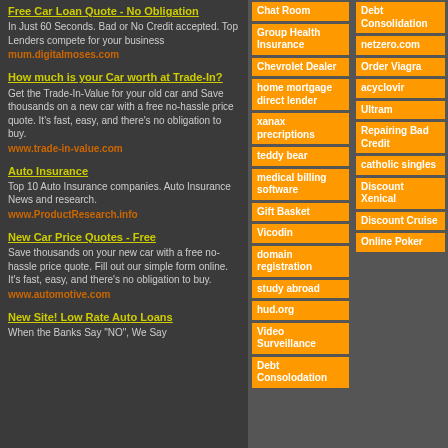Free Car Loan Quote - No Obligation
In Just 60 Seconds. Bad or No Credit accepted. Top Lenders compete for your business
mum.digitalmoses.com
How much is your Car worth at Trade-In?
Get the Trade-In-Value for your old car and Save thousands on a new car with a free no-hassle price quote. It's fast, easy, and there's no obligation to buy.
www.trade-in-value.com
Auto Insurance
Top 10 Auto Insurance companies. Auto Insurance News and research.
www.ProductResearch.info
New Car Price Quotes - Free
Save thousands on your new car with a free no-hassle price quote. Fill out our simple form online. It's fast, easy, and there's no obligation to buy.
www.automotive.com
New Site! Low Rate Auto Loans
When the Banks Say "NO", We Say
[Figure (other): Middle column of orange link boxes: Chat Room, Group Health Insurance, Chevrolet Dealer, home mortgage direct lender, xanax precriptions, teddy bear, medical billing software, Gift Basket, Vicodin, domain registration, study abroad, hud.org, Video Surveillance, Debt Consolodation]
[Figure (other): Right column of orange link boxes: Debt Consolidation, netzero.com, Order Viagra, acyclovir, Ultram, Repairing Bad Credit, catholic singles, Discount Xenical, Discount Cruise, Online Poker]